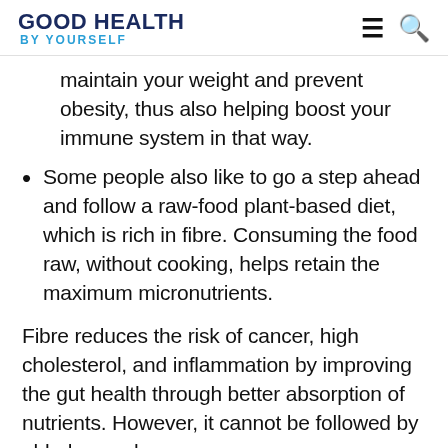GOOD HEALTH by YOURSELF
maintain your weight and prevent obesity, thus also helping boost your immune system in that way.
Some people also like to go a step ahead and follow a raw-food plant-based diet, which is rich in fibre. Consuming the food raw, without cooking, helps retain the maximum micronutrients.
Fibre reduces the risk of cancer, high cholesterol, and inflammation by improving the gut health through better absorption of nutrients. However, it cannot be followed by elderly people